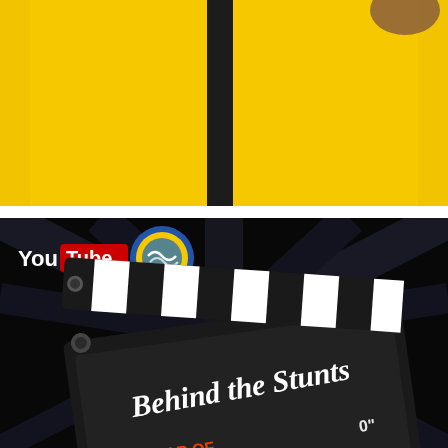[Figure (photo): Yellow background with a dark vertical stripe down the center, partially visible person wearing yellow]
[Figure (illustration): Dark space-themed background with starburst effect, YouTube logo and FSWL circular badge logo, large movie clapperboard with text 'Behind the Stunts' written on it in white script font, partial text at bottom]